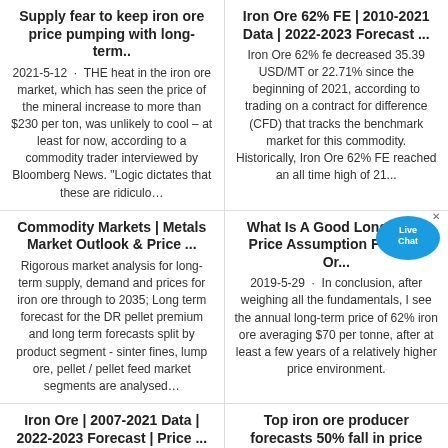Supply fear to keep iron ore price pumping with long-term..
2021-5-12 · THE heat in the iron ore market, which has seen the price of the mineral increase to more than $230 per ton, was unlikely to cool – at least for now, according to a commodity trader interviewed by Bloomberg News. "Logic dictates that these are ridiculo…
Iron Ore 62% FE | 2010-2021 Data | 2022-2023 Forecast ...
Iron Ore 62% fe decreased 35.39 USD/MT or 22.71% since the beginning of 2021, according to trading on a contract for difference (CFD) that tracks the benchmark market for this commodity. Historically, Iron Ore 62% FE reached an all time high of 21...
Commodity Markets | Metals Market Outlook & Price ...
Rigorous market analysis for long-term supply, demand and prices for iron ore through to 2035; Long term forecast for the DR pellet premium and long term forecasts split by product segment - sinter fines, lump ore, pellet / pellet feed market segments are analysed…
What Is A Good Long-Term Price Assumption For Iron Or...
2019-5-29 · In conclusion, after weighing all the fundamentals, I see the annual long-term price of 62% iron ore averaging $70 per tonne, after at least a few years of a relatively higher price environment.
Iron Ore | 2007-2021 Data | 2022-2023 Forecast | Price ...
Iron ore with 63.5% iron content for...
Top iron ore producer forecasts 50% fall in price
2021-3-30 · Top iron ore producer...